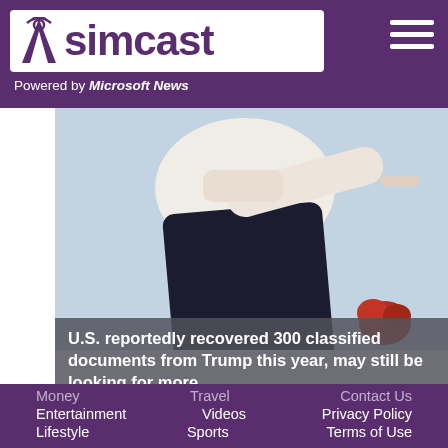simcast — Powered by Microsoft News
[Figure (photo): Person in white shirt and dark pants pointing with one hand, with red flower visible in lower right. Light blue background.]
U.S. reportedly recovered 300 classified documents from Trump this year, may still be looking for more
This website is using cookies.
We use them to give you the best experience. If you continue using our website, we will assume that you are happy to receive all cookies on this website.
Continue
Learn more
Money
Travel
Contact Us
Entertainment
Videos
Privacy Policy
Lifestyle
Sports
Terms of Use